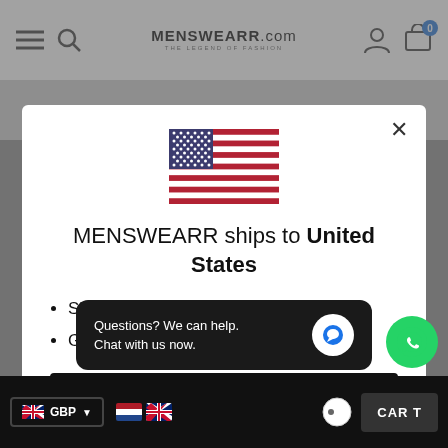MENSWEARR.com
[Figure (illustration): US flag SVG illustration]
MENSWEARR ships to United States
Shop in USD $
Get shipping options for United States
Shop now
Change shipping country
Questions? We can help. Chat with us now.
GBP  CART